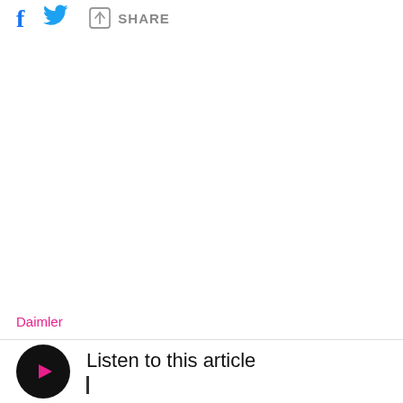f [twitter bird] SHARE
Daimler
Listen to this article